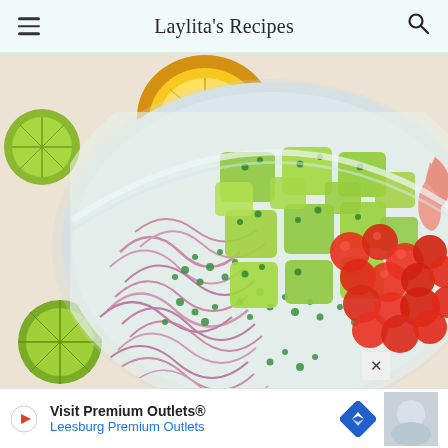Laylita's Recipes
[Figure (photo): A large white bowl containing a seafood salad with avocado chunks, red onion slices, diced tomatoes, and shrimp, with cilantro herbs mixed in. Beside the bowl are halved citrus fruits (orange and lime) on a light wooden surface.]
Visit Premium Outlets® Leesburg Premium Outlets